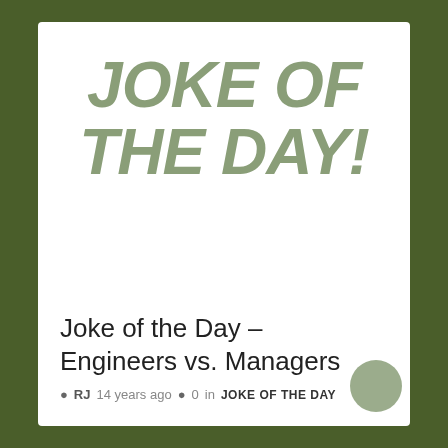[Figure (illustration): Joke of the Day logo with large bold italic olive-colored text on white background reading JOKE OF THE DAY!]
Joke of the Day – Engineers vs. Managers
RJ  14 years ago  0  in  JOKE OF THE DAY